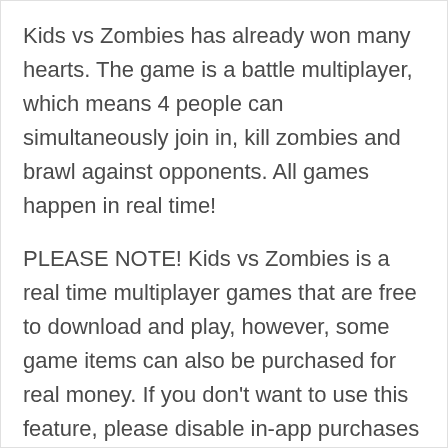Kids vs Zombies has already won many hearts. The game is a battle multiplayer, which means 4 people can simultaneously join in, kill zombies and brawl against opponents. All games happen in real time!
PLEASE NOTE! Kids vs Zombies is a real time multiplayer games that are free to download and play, however, some game items can also be purchased for real money. If you don't want to use this feature, please disable in-app purchases in your device's settings. Also, under our Terms of Service and Privacy Policy, you must be at least 12 years of age to play or download Kids vs Zombies.